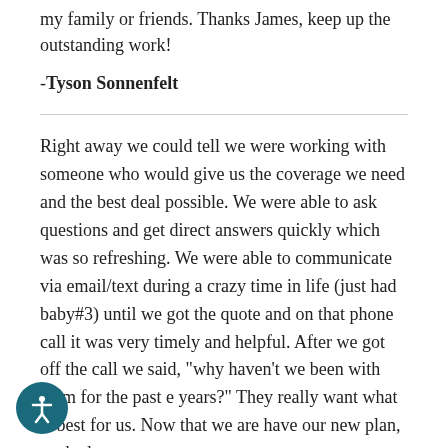my family or friends. Thanks James, keep up the outstanding work!
-Tyson Sonnenfelt
Right away we could tell we were working with someone who would give us the coverage we need and the best deal possible. We were able to ask questions and get direct answers quickly which was so refreshing. We were able to communicate via email/text during a crazy time in life (just had baby#3) until we got the quote and on that phone call it was very timely and helpful. After we got off the call we said, "why haven't we been with them for the past e years?" They really want what is best for us. Now that we are have our new plan, we had